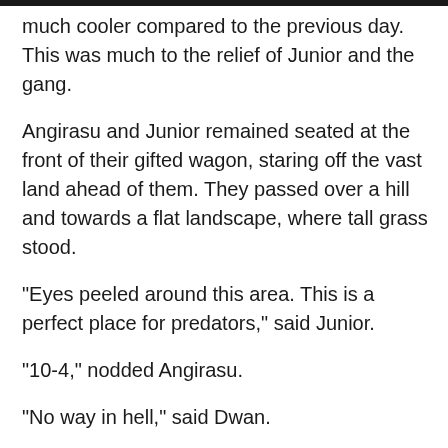much cooler compared to the previous day. This was much to the relief of Junior and the gang.
Angirasu and Junior remained seated at the front of their gifted wagon, staring off the vast land ahead of them. They passed over a hill and towards a flat landscape, where tall grass stood.
"Eyes peeled around this area. This is a perfect place for predators," said Junior.
"10-4," nodded Angirasu.
"No way in hell," said Dwan.
"I'm not kidding," said Rodan.
"Dude, get out! That's crazy!" said Dwan in disbelief.